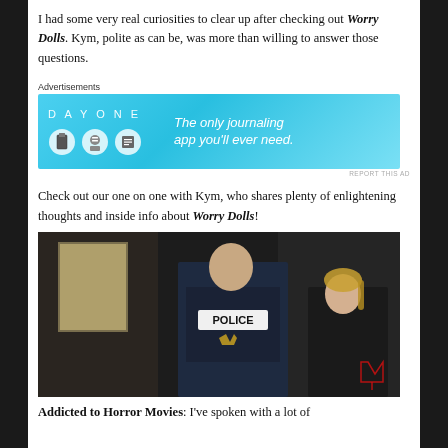I had some very real curiosities to clear up after checking out Worry Dolls. Kym, polite as can be, was more than willing to answer those questions.
[Figure (other): Advertisement banner for Day One journaling app with blue background, app icons, and tagline 'The only journaling app you'll ever need.']
Check out our one on one with Kym, who shares plenty of enlightening thoughts and inside info about Worry Dolls!
[Figure (photo): Scene from Worry Dolls showing a man in a navy blue police vest and a blonde woman in a dark setting.]
Addicted to Horror Movies: I've spoken with a lot of